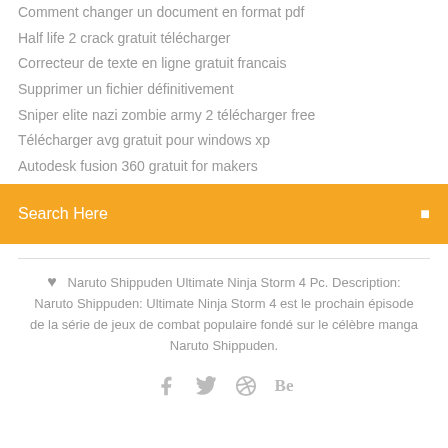Comment changer un document en format pdf
Half life 2 crack gratuit télécharger
Correcteur de texte en ligne gratuit francais
Supprimer un fichier définitivement
Sniper elite nazi zombie army 2 télécharger free
Télécharger avg gratuit pour windows xp
Autodesk fusion 360 gratuit for makers
Search Here
❤ Naruto Shippuden Ultimate Ninja Storm 4 Pc. Description: Naruto Shippuden: Ultimate Ninja Storm 4 est le prochain épisode de la série de jeux de combat populaire fondé sur le célèbre manga Naruto Shippuden.
[Figure (other): Social media icons: facebook, twitter, dribbble, behance]